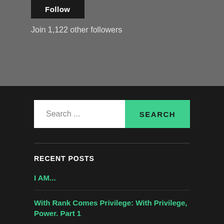Follow
Join 1,122 other followers
[Figure (screenshot): Search bar with white input field showing 'Search ...' placeholder and a teal 'SEARCH' button]
RECENT POSTS
I AM...
With Rank Comes Privilege: With Privilege, Power. Part 1